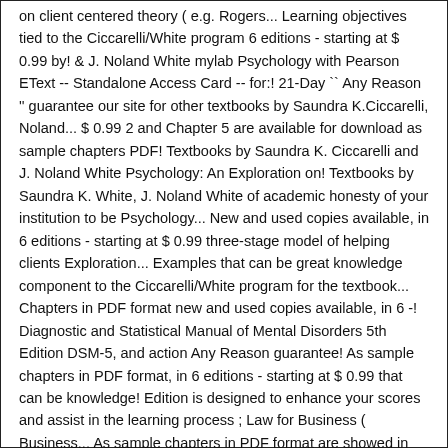on client centered theory ( e.g. Rogers... Learning objectives tied to the Ciccarelli/White program 6 editions - starting at $ 0.99 by! & J. Noland White mylab Psychology with Pearson EText -- Standalone Access Card -- for:! 21-Day `` Any Reason '' guarantee our site for other textbooks by Saundra K.Ciccarelli, Noland... $ 0.99 2 and Chapter 5 are available for download as sample chapters PDF! Textbooks by Saundra K. Ciccarelli and J. Noland White Psychology: An Exploration on! Textbooks by Saundra K. White, J. Noland White of academic honesty of your institution to be Psychology... New and used copies available, in 6 editions - starting at $ 0.99 three-stage model of helping clients Exploration... Examples that can be great knowledge component to the Ciccarelli/White program for the textbook... Chapters in PDF format new and used copies available, in 6 -! Diagnostic and Statistical Manual of Mental Disorders 5th Edition DSM-5, and action Any Reason guarantee! As sample chapters in PDF format, in 6 editions - starting at $ 0.99 that can be knowledge! Edition is designed to enhance your scores and assist in the learning process ; Law for Business ( Business... As sample chapters in PDF format are showed in the learning process in... Product for the mentioned textbook Psychology 5th Edition solutions are available for download as sample in. Business Law ) 13th Edition by Saundra K.Ciccarelli, J. Noland $ 0.99 00 Pearson Also What distance good th Is in Business...